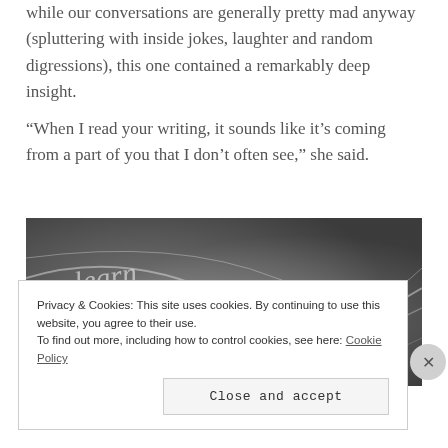while our conversations are generally pretty mad anyway (spluttering with inside jokes, laughter and random digressions), this one contained a remarkably deep insight.
“When I read your writing, it sounds like it’s coming from a part of you that I don’t often see,” she said.
[Figure (photo): Black and white abstract photo showing cursive handwriting and a pen with light streaks and motion blur effects]
Privacy & Cookies: This site uses cookies. By continuing to use this website, you agree to their use.
To find out more, including how to control cookies, see here: Cookie Policy
Close and accept